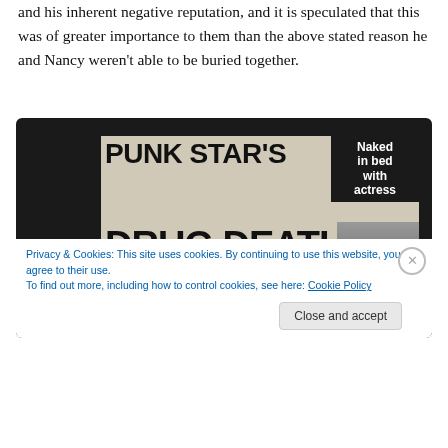and his inherent negative reputation, and it is speculated that this was of greater importance to them than the above stated reason he and Nancy weren't able to be buried together.
[Figure (photo): Newspaper front page clipping showing the headline 'PUNK STAR'S DRUG DEATH' with a subheadline 'Naked in bed with actress'. Article text reads: 'British punk rock star Sid Vicious died today of an apparent heroin overdose as he lay naked in bed with an actress in her Greenwich Village, New York, flat.' Photo of Sid Vicious on the right side of the clipping. The clipping is displayed on a dark background.]
Privacy & Cookies: This site uses cookies. By continuing to use this website, you agree to their use.
To find out more, including how to control cookies, see here: Cookie Policy
Close and accept